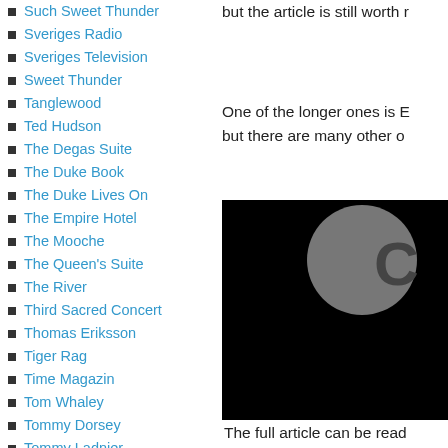Such Sweet Thunder
Sveriges Radio
Sveriges Television
Sweet Thunder
Tanglewood
Ted Hudson
The Degas Suite
The Duke Book
The Duke Lives On
The Empire Hotel
The Mooche
The Queen's Suite
The River
Third Sacred Concert
Thomas Eriksson
Tiger Rag
Time Magazin
Tom Whaley
Tommy Dorsey
Tommy Ladnier
Tone Parallel
Toots Thielemans
Toronto
but the article is still worth r
One of the longer ones is E but there are many other o
[Figure (photo): Dark/black background image with a large gray circle containing a partial letter 'C' or similar shape visible on the right side of the page.]
The full article can be read